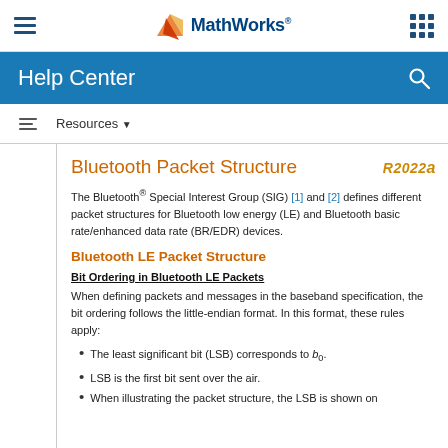MathWorks Help Center
Bluetooth Packet Structure
The Bluetooth® Special Interest Group (SIG) [1] and [2] defines different packet structures for Bluetooth low energy (LE) and Bluetooth basic rate/enhanced data rate (BR/EDR) devices.
Bluetooth LE Packet Structure
Bit Ordering in Bluetooth LE Packets
When defining packets and messages in the baseband specification, the bit ordering follows the little-endian format. In this format, these rules apply:
The least significant bit (LSB) corresponds to b_0.
LSB is the first bit sent over the air.
When illustrating the packet structure, the LSB is shown on